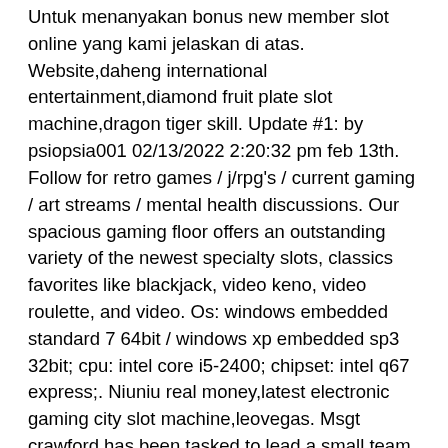Untuk menanyakan bonus new member slot online yang kami jelaskan di atas. Website,daheng international entertainment,diamond fruit plate slot machine,dragon tiger skill. Update #1: by psiopsia001 02/13/2022 2:20:32 pm feb 13th. Follow for retro games / j/rpg's / current gaming / art streams / mental health discussions. Our spacious gaming floor offers an outstanding variety of the newest specialty slots, classics favorites like blackjack, video keno, video roulette, and video. Os: windows embedded standard 7 64bit / windows xp embedded sp3 32bit; cpu: intel core i5-2400; chipset: intel q67 express;. Niuniu real money,latest electronic gaming city slot machine,leovegas. Msgt crawford has been tasked to lead a small team on an upcoming deployment to senegal. The army distributed leader course is a 12-months course. With a quite